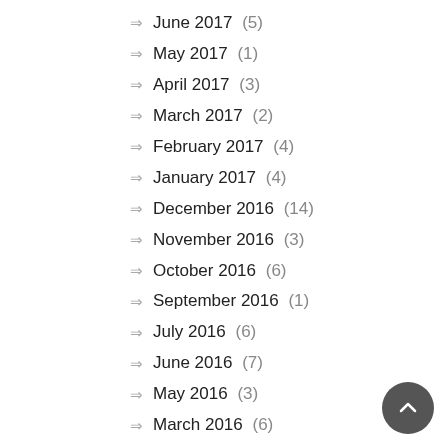June 2017 (5)
May 2017 (1)
April 2017 (3)
March 2017 (2)
February 2017 (4)
January 2017 (4)
December 2016 (14)
November 2016 (3)
October 2016 (6)
September 2016 (1)
July 2016 (6)
June 2016 (7)
May 2016 (3)
March 2016 (6)
February 2016 (9)
January 2016 (23)
December 2015 (16)
November 2015 (7)